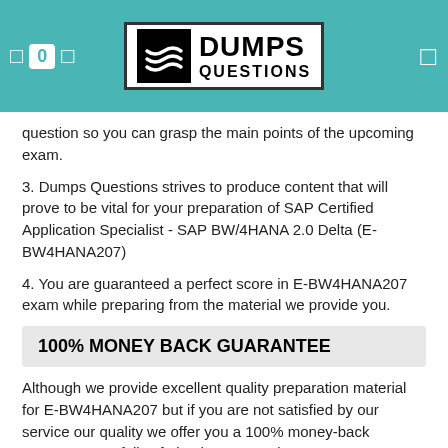DUMPS QUESTIONS
question so you can grasp the main points of the upcoming exam.
3. Dumps Questions strives to produce content that will prove to be vital for your preparation of SAP Certified Application Specialist - SAP BW/4HANA 2.0 Delta (E-BW4HANA207)
4. You are guaranteed a perfect score in E-BW4HANA207 exam while preparing from the material we provide you.
100% MONEY BACK GUARANTEE
Although we provide excellent quality preparation material for E-BW4HANA207 but if you are not satisfied by our service our quality we offer you a 100% money-back guarantee. So fell safe buying our products.
EASY TO PAY FOR E-BW4HANA207 DUMPS ONLINE